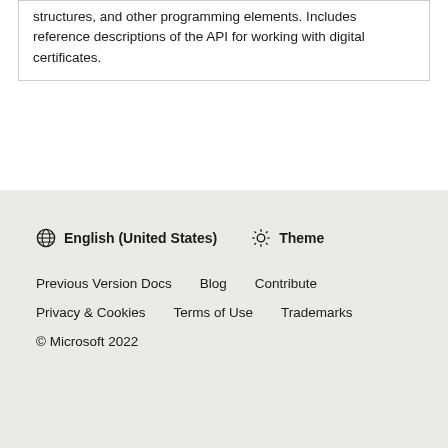structures, and other programming elements. Includes reference descriptions of the API for working with digital certificates.
English (United States)  Theme  Previous Version Docs  Blog  Contribute  Privacy & Cookies  Terms of Use  Trademarks  © Microsoft 2022